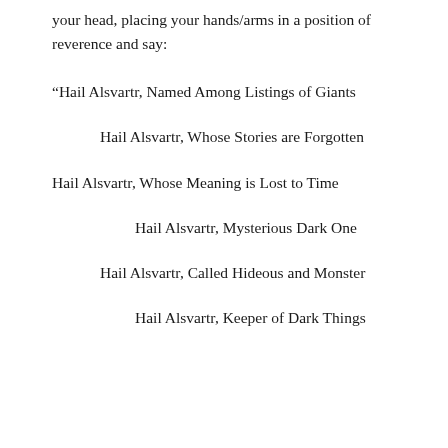your head, placing your hands/arms in a position of reverence and say:
“Hail Alsvartr, Named Among Listings of Giants

Hail Alsvartr, Whose Stories are Forgotten

Hail Alsvartr, Whose Meaning is Lost to Time

Hail Alsvartr, Mysterious Dark One

Hail Alsvartr, Called Hideous and Monster

Hail Alsvartr, Keeper of Dark Things